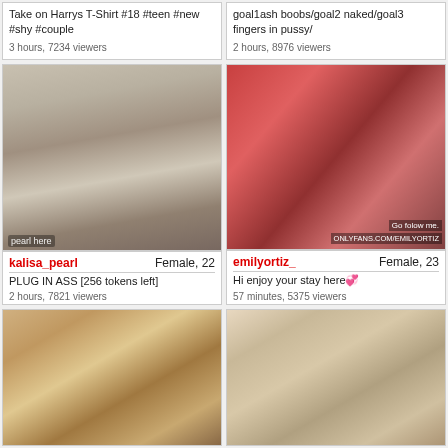Take on Harrys T-Shirt #18 #teen #new #shy #couple
3 hours, 7234 viewers
goal1ash boobs/goal2 naked/goal3 fingers in pussy/
2 hours, 8976 viewers
[Figure (photo): Webcam stream thumbnail showing person in pleated skirt, username kalisa_pearl, Female 22, PLUG IN ASS [256 tokens left], 2 hours 7821 viewers]
[Figure (photo): Webcam stream thumbnail with red lingerie, username emilyortiz_, Female 23, Hi enjoy your stay here, 57 minutes 5375 viewers]
[Figure (photo): Webcam stream thumbnail of blonde woman on couch]
[Figure (photo): Webcam stream thumbnail of young couple]